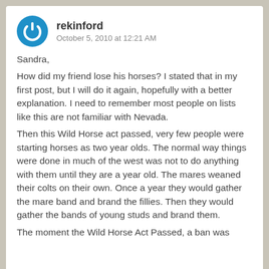rekinford — October 5, 2010 at 12:21 AM
Sandra,
How did my friend lose his horses? I stated that in my first post, but I will do it again, hopefully with a better explanation. I need to remember most people on lists like this are not familiar with Nevada.
Then this Wild Horse act passed, very few people were starting horses as two year olds. The normal way things were done in much of the west was not to do anything with them until they are a year old. The mares weaned their colts on their own. Once a year they would gather the mare band and brand the fillies. Then they would gather the bands of young studs and brand them.

The moment the Wild Horse Act Passed, a ban was